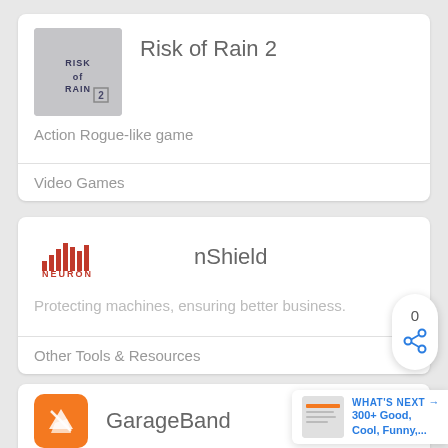Risk of Rain 2
Action Rogue-like game
Video Games
[Figure (logo): Risk of Rain 2 game thumbnail with stylized text logo on grey background]
nShield
[Figure (logo): Neuron Soundware logo with bar chart icon in red]
Protecting machines, ensuring better business.
Other Tools & Resources
GarageBand
[Figure (logo): GarageBand orange icon with guitar scissors graphic]
WHAT'S NEXT → 300+ Good, Cool, Funny,...